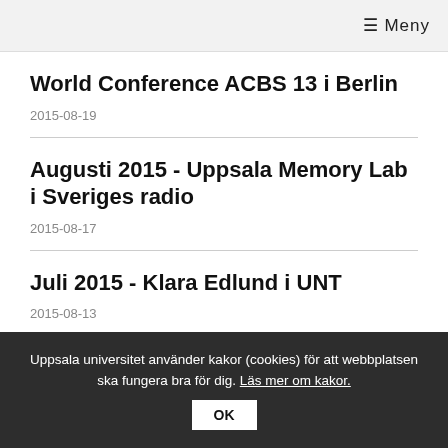☰ Meny
World Conference ACBS 13 i Berlin
2015-08-19
Augusti 2015 - Uppsala Memory Lab i Sveriges radio
2015-08-17
Juli 2015 - Klara Edlund i UNT
2015-08-13
Uppsala universitet använder kakor (cookies) för att webbplatsen ska fungera bra för dig. Läs mer om kakor.